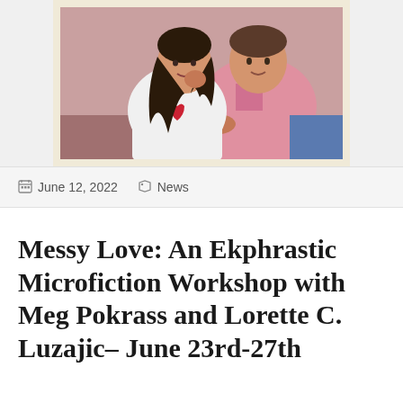[Figure (photo): Vintage photograph of two people (a young woman and a man in a pink shirt) sitting close together, framed with a cream/off-white Polaroid-style border, on a grey background.]
June 12, 2022   News
Messy Love: An Ekphrastic Microfiction Workshop with Meg Pokrass and Lorette C. Luzajic– June 23rd-27th